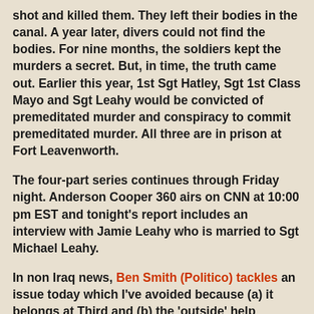shot and killed them. They left their bodies in the canal. A year later, divers could not find the bodies. For nine months, the soldiers kept the murders a secret. But, in time, the truth came out. Earlier this year, 1st Sgt Hatley, Sgt 1st Class Mayo and Sgt Leahy would be convicted of premeditated murder and conspiracy to commit premeditated murder. All three are in prison at Fort Leavenworth.
The four-part series continues through Friday night. Anderson Cooper 360 airs on CNN at 10:00 pm EST and tonight's report includes an interview with Jamie Leahy who is married to Sgt Michael Leahy.
In non Iraq news, Ben Smith (Politico) tackles an issue today which I've avoided because (a) it belongs at Third and (b) the 'outside' help Newsweek has so often relied on. Ben Smith notes that women's groups seem dumbfounded on Palin's assertion that Newsweek has treated her in a sexist manner. The idiot Marie Wilson of the laughable White House Project (let's see, they couldn't save a TV show and they let women go down in